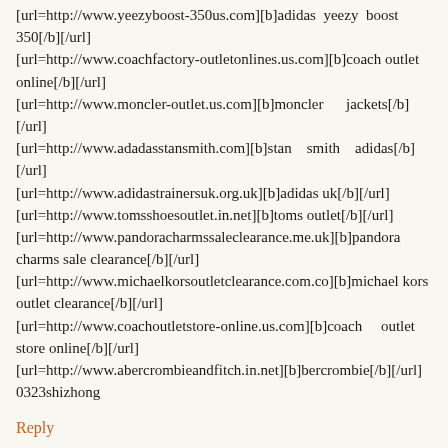[url=http://www.yeezyboost-350us.com][b]adidas yeezy boost 350[/b][/url]
[url=http://www.coachfactory-outletonlines.us.com][b]coach outlet online[/b][/url]
[url=http://www.moncler-outlet.us.com][b]moncler jackets[/b][/url]
[url=http://www.adadasstansmith.com][b]stan smith adidas[/b][/url]
[url=http://www.adidastrainersuk.org.uk][b]adidas uk[/b][/url]
[url=http://www.tomsshoesoutlet.in.net][b]toms outlet[/b][/url]
[url=http://www.pandoracharmssaleclearance.me.uk][b]pandora charms sale clearance[/b][/url]
[url=http://www.michaelkorsoutletclearance.com.co][b]michael kors outlet clearance[/b][/url]
[url=http://www.coachoutletstore-online.us.com][b]coach outlet store online[/b][/url]
[url=http://www.abercrombieandfitch.in.net][b]bercrombie[/b][/url]
0323shizhong
Reply
March 23, 2017 at 3:43 AM